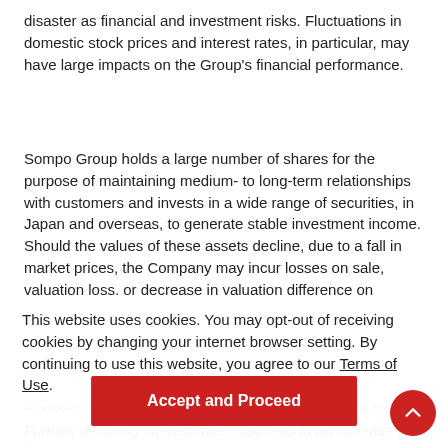disaster as financial and investment risks. Fluctuations in domestic stock prices and interest rates, in particular, may have large impacts on the Group's financial performance.
Sompo Group holds a large number of shares for the purpose of maintaining medium- to long-term relationships with customers and invests in a wide range of securities, in Japan and overseas, to generate stable investment income. Should the values of these assets decline, due to a fall in market prices, the Company may incur losses on sale, valuation loss, or decrease in valuation difference on available-for-sale securities. This would impact the Group's business results.
There is also a risk that actual investment yields may be lower than the assumed interest rate used in liability measurement, because the Group sells insurance products with assumed interest rates – the investment yield promised to customers at the time of contracting – over a long period.
Further, declining interest rates may lead to an increase in the
This website uses cookies. You may opt-out of receiving cookies by changing your internet browser setting. By continuing to use this website, you agree to our Terms of Use.